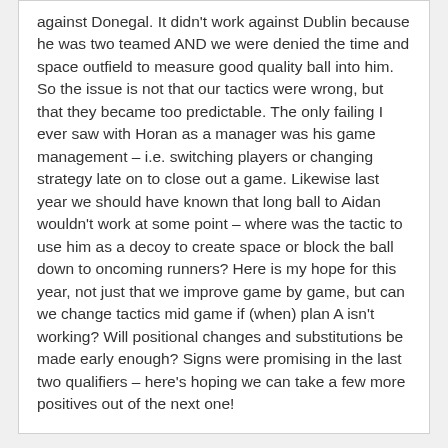against Donegal. It didn't work against Dublin because he was two teamed AND we were denied the time and space outfield to measure good quality ball into him.
So the issue is not that our tactics were wrong, but that they became too predictable. The only failing I ever saw with Horan as a manager was his game management – i.e. switching players or changing strategy late on to close out a game. Likewise last year we should have known that long ball to Aidan wouldn't work at some point – where was the tactic to use him as a decoy to create space or block the ball down to oncoming runners? Here is my hope for this year, not just that we improve game by game, but can we change tactics mid game if (when) plan A isn't working? Will positional changes and substitutions be made early enough? Signs were promising in the last two qualifiers – here's hoping we can take a few more positives out of the next one!
Aidan says: July 21, 2016 at 7:14 pm